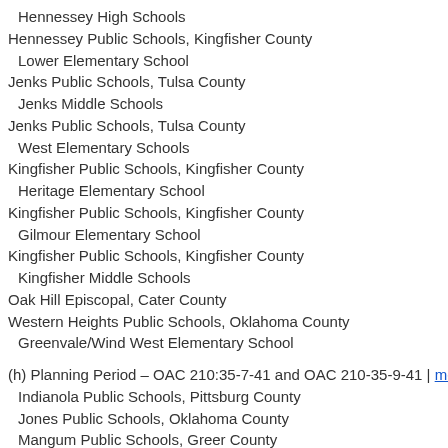Hennessey High Schools
Hennessey Public Schools, Kingfisher County
Lower Elementary School
Jenks Public Schools, Tulsa County
Jenks Middle Schools
Jenks Public Schools, Tulsa County
West Elementary Schools
Kingfisher Public Schools, Kingfisher County
Heritage Elementary School
Kingfisher Public Schools, Kingfisher County
Gilmour Elementary School
Kingfisher Public Schools, Kingfisher County
Kingfisher Middle Schools
Oak Hill Episcopal, Cater County
Western Heights Public Schools, Oklahoma County
Greenvale/Wind West Elementary School
(h) Planning Period – OAC 210:35-7-41 and OAC 210-35-9-41 | memo
Indianola Public Schools, Pittsburg County
Jones Public Schools, Oklahoma County
Mangum Public Schools, Greer County
Maysville Public Schools, Garvin County
Paden Public Schools, Okfuskee County
Ponca City Public Schools, Kay County
Purcell Public Schools, McClain County